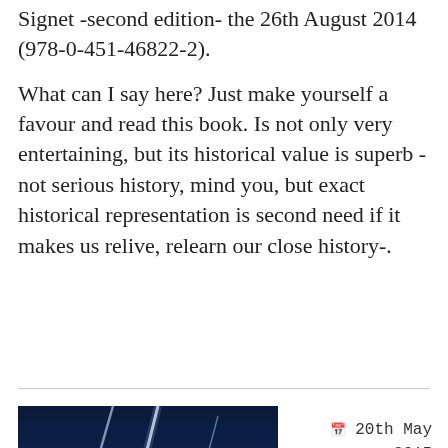Signet -second edition- the 26th August 2014 (978-0-451-46822-2).
What can I say here? Just make yourself a favour and read this book. Is not only very entertaining, but its historical value is superb -not serious history, mind you, but exact historical representation is second need if it makes us relive, relearn our close history-.
[Figure (photo): Book cover showing 'STEPHEN KING' in large white letters on a dark blue background with lightning bolts]
20th May 2015